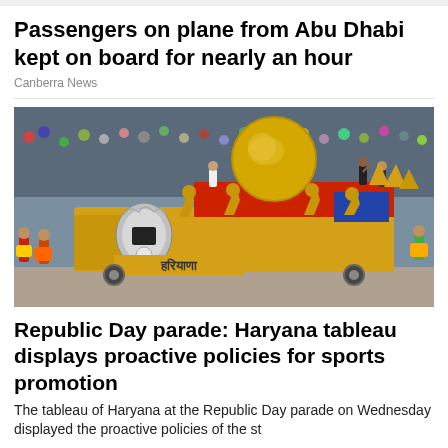Passengers on plane from Abu Dhabi kept on board for nearly an hour
Canberra News
[Figure (photo): A colorful parade float from Haryana at the Republic Day parade, decorated with golden sculptures of horses and figurines on a red and gold platform. Women in traditional Rajasthani attire dance alongside the float. A large golden sphere sits atop the float. Hindi text 'Haryana' is visible on the front of the float.]
Republic Day parade: Haryana tableau displays proactive policies for sports promotion
The tableau of Haryana at the Republic Day parade on Wednesday displayed the proactive policies of the state